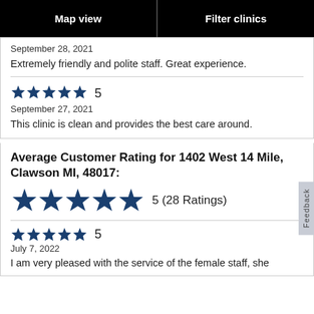Map view | Filter clinics
September 28, 2021
Extremely friendly and polite staff. Great experience.
5
September 27, 2021
This clinic is clean and provides the best care around.
Average Customer Rating for 1402 West 14 Mile, Clawson MI, 48017:
5 (28 Ratings)
5
July 7, 2022
I am very pleased with the service of the female staff, she